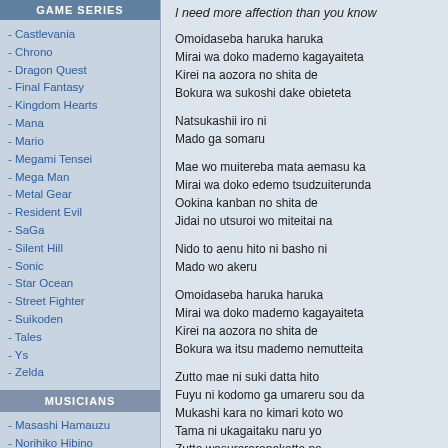GAME SERIES
- Castlevania
- Chrono
- Dragon Quest
- Final Fantasy
- Kingdom Hearts
- Mana
- Mario
- Megami Tensei
- Mega Man
- Metal Gear
- Resident Evil
- SaGa
- Silent Hill
- Sonic
- Star Ocean
- Street Fighter
- Suikoden
- Tales
- Ys
- Zelda
MUSICIANS
- Masashi Hamauzu
- Norihiko Hibino
- Kenji Ito
- Noriyuki Iwadare
- Koji Kondo
- Yuzo Koshiro
- Shoji Meguro
- Yasunori Mitsuda
- Manabu Namiki
- Hitoshi Sakimoto
I need more affection than you know
Omoidaseba haruka haruka
Mirai wa doko mademo kagayaiteta
Kirei na aozora no shita de
Bokura wa sukoshi dake obieteta
Natsukashii iro ni
Mado ga somaru
Mae wo muitereba mata aemasu ka
Mirai wa doko edemo tsudzuiterunda
Ookina kanban no shita de
Jidai no utsuroi wo miteitai na
Nido to aenu hito ni basho ni
Mado wo akeru
Omoidaseba haruka haruka
Mirai wa doko mademo kagayaiteta
Kirei na aozora no shita de
Bokura wa itsu mademo nemutteita
Zutto mae ni suki datta hito
Fuyu ni kodomo ga umareru sou da
Mukashi kara no kimari koto wo
Tama ni ukagaitaku naru yo
Zutto wasurerarenakatta no
Nengajou wa shashin tsuki kana
Watashitachi ni dekinakatta koto wo
Totemo natsukashiku omou yo
Ooh...
My fears...
My lies...
Melt away...
Aozora no shita...